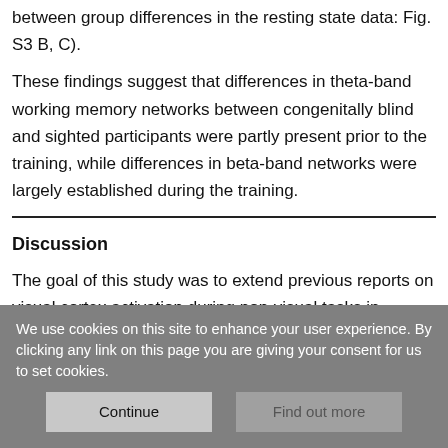between group differences in the resting state data: Fig. S3 B, C).
These findings suggest that differences in theta-band working memory networks between congenitally blind and sighted participants were partly present prior to the training, while differences in beta-band networks were largely established during the training.
Discussion
The goal of this study was to extend previous reports on visual cortex activation during non-visual tasks in congenitally blind individuals by providing insights into the mechanisms underlying
We use cookies on this site to enhance your user experience. By clicking any link on this page you are giving your consent for us to set cookies.